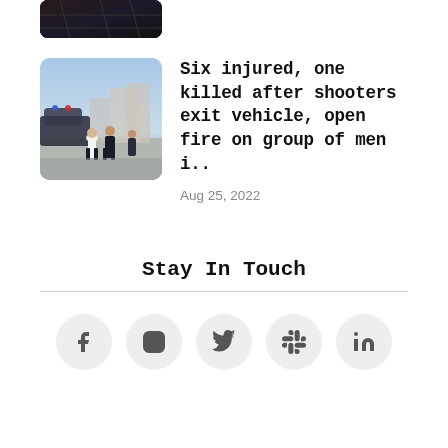[Figure (photo): Partially visible dark thumbnail image at top, cropped]
[Figure (photo): Police officers at a scene, outdoors, blue sky, multiple figures in uniform]
Six injured, one killed after shooters exit vehicle, open fire on group of men i..
Aug 25, 2022
Stay In Touch
[Figure (infographic): Five social media icons in circular grey buttons: Facebook, Instagram, Twitter, Slack, LinkedIn]